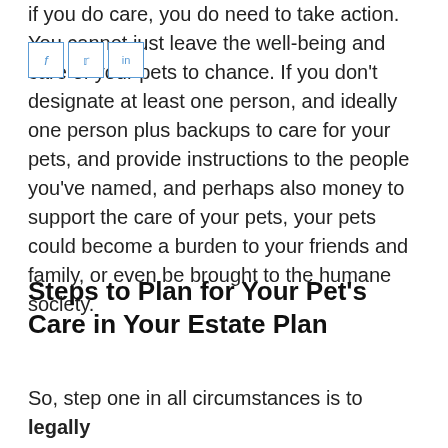if you do care, you do need to take action. You cannot just leave the well-being and care of your pets to chance. If you don't designate at least one person, and ideally one person plus backups to care for your pets, and provide instructions to the people you've named, and perhaps also money to support the care of your pets, your pets could become a burden to your friends and family, or even be brought to the humane society.
Steps to Plan for Your Pet's Care in Your Estate Plan
So, step one in all circumstances is to legally